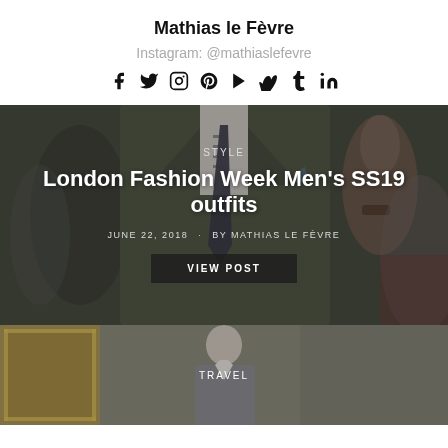Mathias le Fèvre
Instagram: @mathiaslefevre
[Figure (infographic): Social media icons: Facebook, Twitter, Instagram, Pinterest, YouTube, Vimeo, Tumblr, LinkedIn]
[Figure (photo): Man in dark olive suit and tie, street style fashion photo. Overlay text: STYLE / London Fashion Week Men's SS19 outfits / JUNE 22, 2018 · BY MATHIAS LE FÈVRE / VIEW POST button]
[Figure (photo): Partially visible second post card with TRAVEL category label, showing a man in gray suit near ornate gold frame]